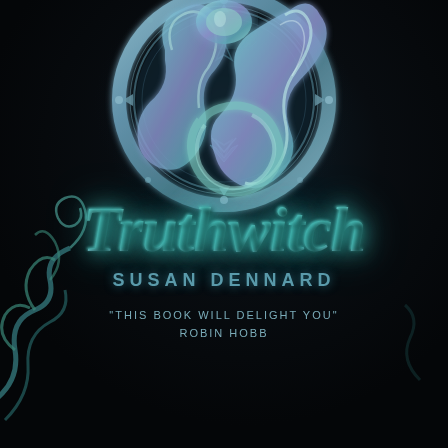[Figure (illustration): Book cover of Truthwitch by Susan Dennard. Dark navy/black background with a glowing teal and iridescent serpentine creature coiled within an ornate circular medallion/shield emblem at the top. Decorative teal vine curls in the bottom-left corner.]
Truthwitch
SUSAN DENNARD
"THIS BOOK WILL DELIGHT YOU" ROBIN HOBB